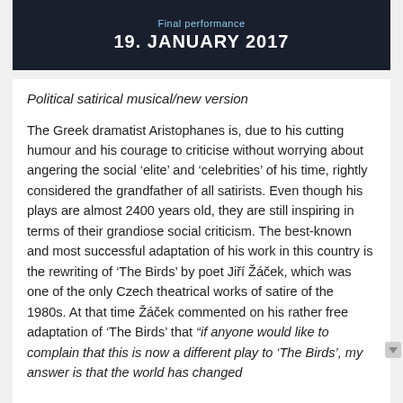Final performance
19. JANUARY 2017
Political satirical musical/new version
The Greek dramatist Aristophanes is, due to his cutting humour and his courage to criticise without worrying about angering the social ‘elite’ and ‘celebrities’ of his time, rightly considered the grandfather of all satirists. Even though his plays are almost 2400 years old, they are still inspiring in terms of their grandiose social criticism. The best-known and most successful adaptation of his work in this country is the rewriting of ‘The Birds’ by poet Jiří Žáček, which was one of the only Czech theatrical works of satire of the 1980s. At that time Žáček commented on his rather free adaptation of ‘The Birds’ that “if anyone would like to complain that this is now a different play to ‘The Birds’, my answer is that the world has changed